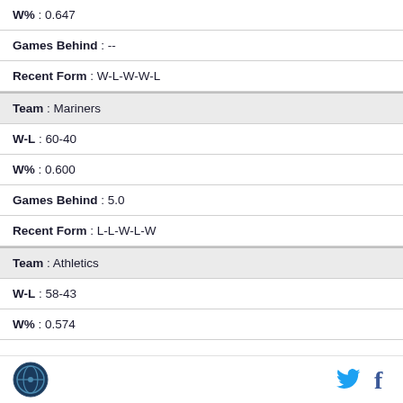W% : 0.647
Games Behind : --
Recent Form : W-L-W-W-L
Team : Mariners
W-L : 60-40
W% : 0.600
Games Behind : 5.0
Recent Form : L-L-W-L-W
Team : Athletics
W-L : 58-43
W% : 0.574
logo | twitter | facebook